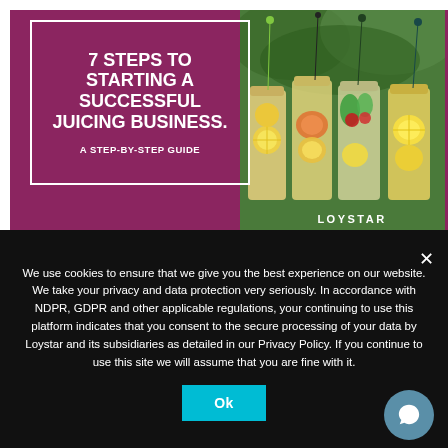[Figure (illustration): Cover image for '7 Steps to Starting a Successful Juicing Business' guide. Left side: purple/magenta panel with a white-bordered box containing the bold white title text. Right side: photo of mason jars filled with fruit-infused water with colorful straws. LOYSTAR branding in lower right.]
7 STEPS TO STARTING A SUCCESSFUL JUICING BUSINESS.
A STEP-BY-STEP GUIDE
We use cookies to ensure that we give you the best experience on our website. We take your privacy and data protection very seriously. In accordance with NDPR, GDPR and other applicable regulations, your continuing to use this platform indicates that you consent to the secure processing of your data by Loystar and its subsidiaries as detailed in our Privacy Policy. If you continue to use this site we will assume that you are fine with it.
Ok